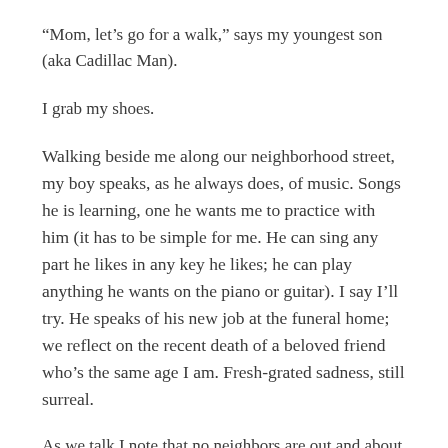“Mom, let’s go for a walk,” says my youngest son (aka Cadillac Man).
I grab my shoes.
Walking beside me along our neighborhood street, my boy speaks, as he always does, of music. Songs he is learning, one he wants me to practice with him (it has to be simple for me. He can sing any part he likes in any key he likes; he can play anything he wants on the piano or guitar). I say I’ll try. He speaks of his new job at the funeral home; we reflect on the recent death of a beloved friend who’s the same age I am. Fresh-grated sadness, still surreal.
As we talk I note that no neighbors are out and about this afternoon. We pass a quiet place. At a neighbor...